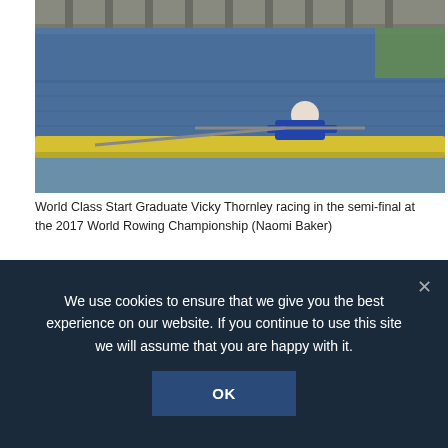[Figure (photo): Rower Vicky Thornley racing in a single scull on a river during the semi-final at the 2017 World Rowing Championship. Yellow boat hull visible, blue water background, bridge in background.]
World Class Start Graduate Vicky Thornley racing in the semi-final at the 2017 World Rowing Championship (Naomi Baker)
This weekend sees no fewer than 11 British boats racing in A finals at the World Rowing Championships and bidding to win medals at the highest level of the sport.
Among the crews racing are rowers who made the
We use cookies to ensure that we give you the best experience on our website. If you continue to use this site we will assume that you are happy with it.